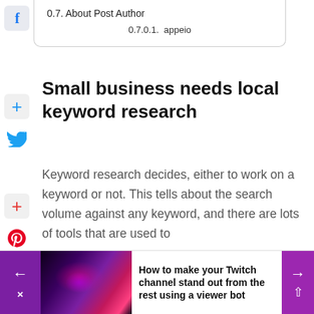0.7. About Post Author
0.7.0.1. appeio
Small business needs local keyword research
Keyword research decides, either to work on a keyword or not. This tells about the search volume against any keyword, and there are lots of tools that are used to
[Figure (screenshot): Bottom promotional banner with purple background, gaming/Twitch themed image, and text: How to make your Twitch channel stand out from the rest using a viewer bot]